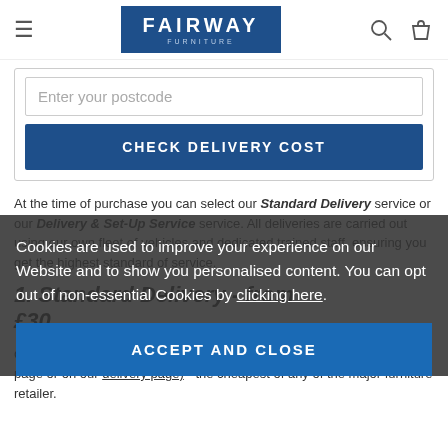FAIRWAY FURNITURE — navigation bar with hamburger menu, logo, search and bag icons
Enter your postcode
CHECK DELIVERY COST
At the time of purchase you can select our Standard Delivery service or our Delivery & Set-Up Service service. All deliveries are carried out using our own fleet of vehicles and dedicated trained staff, ensuring you get the highest standard of service.
1. Standard Delivery - from £30
Cookies are used to improve your experience on our Website and to show you personalised content. You can opt out of non-essential Cookies by clicking here.
ACCEPT AND CLOSE
Our standard delivery service (check the delivery cost on the product page or on our delivery page) - the cheapest of any of the major furniture retailer.